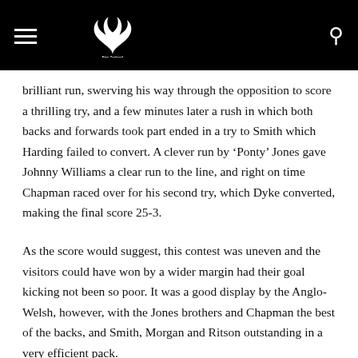New Zealand Rugby Museum
brilliant run, swerving his way through the opposition to score a thrilling try, and a few minutes later a rush in which both backs and forwards took part ended in a try to Smith which Harding failed to convert. A clever run by ‘Ponty’ Jones gave Johnny Williams a clear run to the line, and right on time Chapman raced over for his second try, which Dyke converted, making the final score 25-3.
As the score would suggest, this contest was uneven and the visitors could have won by a wider margin had their goal kicking not been so poor. It was a good display by the Anglo- Welsh, however, with the Jones brothers and Chapman the best of the backs, and Smith, Morgan and Ritson outstanding in a very efficient pack.
Symes was steady at fullback for Hawkes Bay, while Wall and